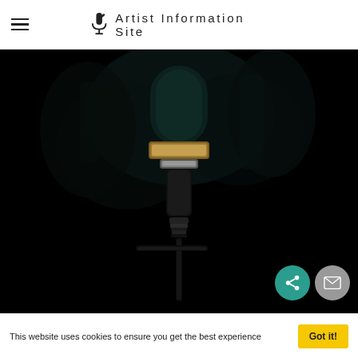Artist Information Site
[Figure (photo): Close-up dark photo of a microphone on a stand, mostly silhouetted against a black background with subtle teal/gold highlights on the microphone body]
[Figure (other): Share button (teal circle with share icon) and email button (gray circle with envelope icon)]
This website uses cookies to ensure you get the best experience
Got it!